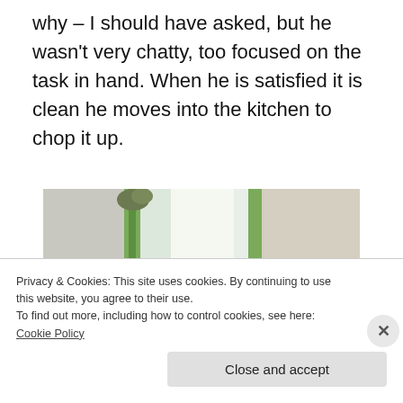why – I should have asked, but he wasn't very chatty, too focused on the task in hand. When he is satisfied it is clean he moves into the kitchen to chop it up.
[Figure (photo): A person leaning over near a window with green curtains, in a cluttered kitchen or room interior.]
Privacy & Cookies: This site uses cookies. By continuing to use this website, you agree to their use.
To find out more, including how to control cookies, see here: Cookie Policy
Close and accept